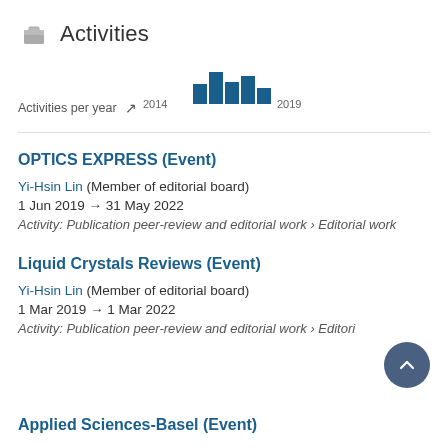Activities
[Figure (bar-chart): Activities per year]
OPTICS EXPRESS (Event)
Yi-Hsin Lin (Member of editorial board)
1 Jun 2019 → 31 May 2022
Activity: Publication peer-review and editorial work › Editorial work
Liquid Crystals Reviews (Event)
Yi-Hsin Lin (Member of editorial board)
1 Mar 2019 → 1 Mar 2022
Activity: Publication peer-review and editorial work › Editorial work
Applied Sciences-Basel (Event)